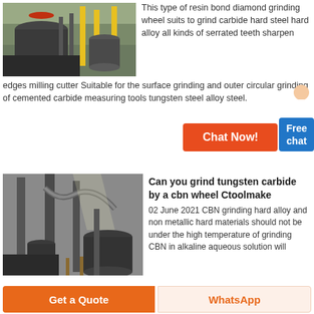[Figure (photo): Industrial grinding/milling equipment in an outdoor factory setting with large cylindrical machines and yellow steel structures]
This type of resin bond diamond grinding wheel suits to grind carbide hard steel hard alloy all kinds of serrated teeth sharpen edges milling cutter Suitable for the surface grinding and outer circular grinding of cemented carbide measuring tools tungsten steel alloy steel.
[Figure (screenshot): Chat Now button (orange/red) with a Free chat box (blue) and a customer service character illustration]
[Figure (photo): Industrial facility interior with large cylindrical tanks, pipes, and grinding/milling machinery in black and white tones]
Can you grind tungsten carbide by a cbn wheel Ctoolmake
02 June 2021 CBN grinding hard alloy and non metallic hard materials should not be under the high temperature of grinding CBN in alkaline aqueous solution will
Get a Quote
WhatsApp